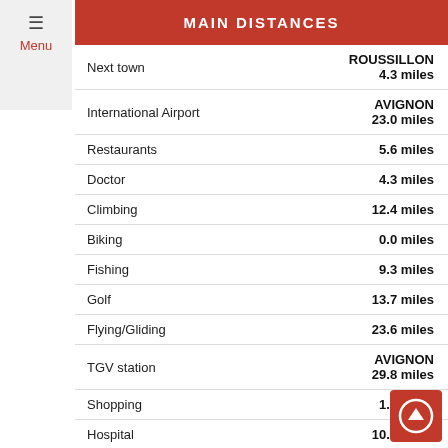Menu
MAIN DISTANCES
|  |  |
| --- | --- |
| Next town | ROUSSILLON
4.3 miles |
| International Airport | AVIGNON
23.0 miles |
| Restaurants | 5.6 miles |
| Doctor | 4.3 miles |
| Climbing | 12.4 miles |
| Biking | 0.0 miles |
| Fishing | 9.3 miles |
| Golf | 13.7 miles |
| Flying/Gliding | 23.6 miles |
| TGV station | AVIGNON
29.8 miles |
| Shopping | 1.9 miles |
| Hospital | 10.6 miles |
| Pharmacy | 4.3 miles |
| Hiking | 0.0 miles |
| Canoeing/kayak | 13.0 miles |
| Tennis court | 2.5 miles |